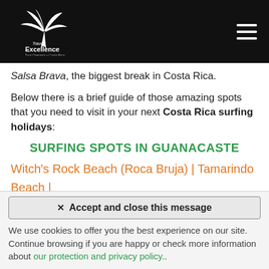Travel Excellence Tour Operator • Costa Rica
Salsa Brava, the biggest break in Costa Rica.
Below there is a brief guide of those amazing spots that you need to visit in your next Costa Rica surfing holidays:
SURFING SPOTS IN GUANACASTE
Witch's Rock Beach (Roca Bruja) | Tamarindo Beach | Grande Beach | Nosara Beach | Santa Teresa Beach
[Figure (photo): Beach photo, light blue sky and sandy beach]
✕ Accept and close this message
We use cookies to offer you the best experience on our site. Continue browsing if you are happy or check more information about our protection and privacy policy..